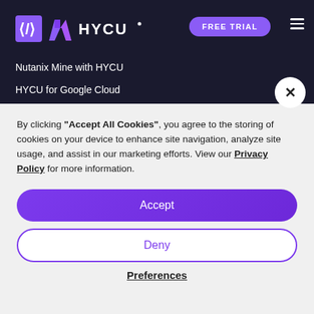HYCU - FREE TRIAL
Nutanix Mine with HYCU
HYCU for Google Cloud
By clicking "Accept All Cookies", you agree to the storing of cookies on your device to enhance site navigation, analyze site usage, and assist in our marketing efforts. View our Privacy Policy for more information.
Accept
Deny
Preferences